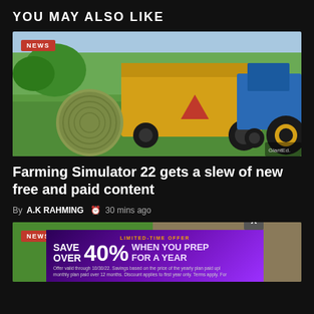YOU MAY ALSO LIKE
[Figure (screenshot): Screenshot from Farming Simulator 22 showing a yellow round hay baler attached to a blue tractor on a green field, with a large round hay bale in the foreground. A red NEWS badge is overlaid in the top-left corner.]
Farming Simulator 22 gets a slew of new free and paid content
By A.K RAHMING  30 mins ago
[Figure (screenshot): Partial screenshot of a second article with a red NEWS badge, partially obscured by an advertisement overlay. The ad has a purple gradient background, reads LIMITED-TIME OFFER / SAVE OVER 40% / WHEN YOU PREP / FOR A YEAR with fine print below and an X close button.]